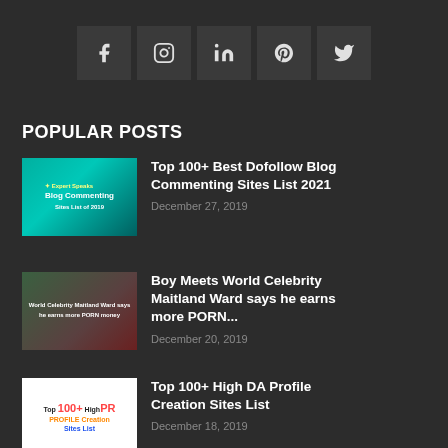[Figure (other): Social media icon buttons: Facebook, Instagram, LinkedIn, Pinterest, Twitter]
POPULAR POSTS
[Figure (photo): Thumbnail for blog commenting sites post - teal background with laptop icon]
Top 100+ Best Dofollow Blog Commenting Sites List 2021
December 27, 2019
[Figure (photo): Thumbnail showing Maitland Ward celebrity photo]
Boy Meets World Celebrity Maitland Ward says he earns more PORN...
December 20, 2019
[Figure (photo): Thumbnail for High PR Profile Creation Sites List - white background with colorful text]
Top 100+ High DA Profile Creation Sites List
December 18, 2019